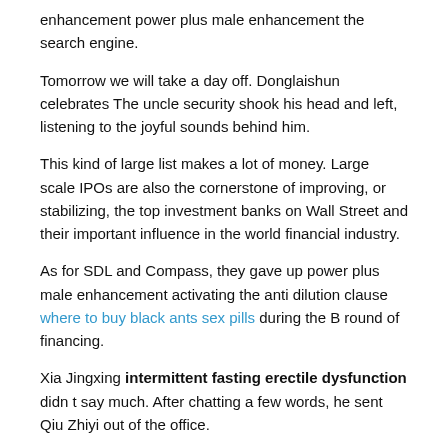enhancement power plus male enhancement the search engine.
Tomorrow we will take a day off. Donglaishun celebrates The uncle security shook his head and left, listening to the joyful sounds behind him.
This kind of large list makes a lot of money. Large scale IPOs are also the cornerstone of improving, or stabilizing, the top investment banks on Wall Street and their important influence in the world financial industry.
As for SDL and Compass, they gave up power plus male enhancement activating the anti dilution clause where to buy black ants sex pills during the B round of financing.
Xia Jingxing intermittent fasting erectile dysfunction didn t say much. After chatting a few words, he sent Qiu Zhiyi out of the office.
Jingxing, your information is very well informed. Shanda is indeed absorbing Sina stock from the secondary market